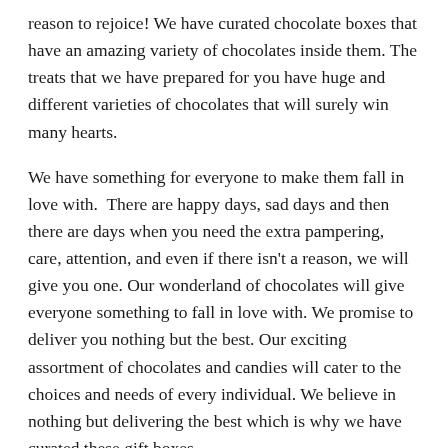reason to rejoice! We have curated chocolate boxes that have an amazing variety of chocolates inside them. The treats that we have prepared for you have huge and different varieties of chocolates that will surely win many hearts.
We have something for everyone to make them fall in love with.  There are happy days, sad days and then there are days when you need the extra pampering, care, attention, and even if there isn't a reason, we will give you one. Our wonderland of chocolates will give everyone something to fall in love with. We promise to deliver you nothing but the best. Our exciting assortment of chocolates and candies will cater to the choices and needs of every individual. We believe in nothing but delivering the best which is why we have curated these gift boxes.
Buy Chocolate Candy Gifts